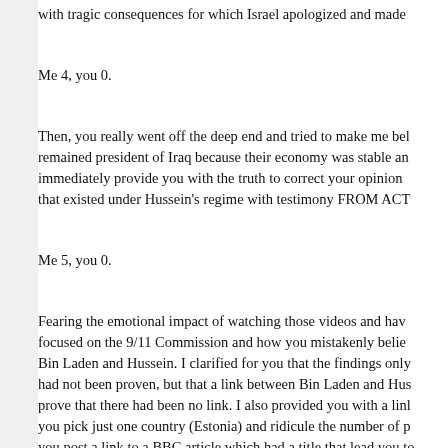with tragic consequences for which Israel apologized and made
Me 4, you 0.
Then, you really went off the deep end and tried to make me believe that Hussein remained president of Iraq because their economy was stable and I was able to immediately provide you with the truth to correct your opinion about the conditions that existed under Hussein's regime with testimony FROM AC
Me 5, you 0.
Fearing the emotional impact of watching those videos and having, I then focused on the 9/11 Commission and how you mistakenly believed it connected Bin Laden and Hussein. I clarified for you that the findings only stated the link had not been proven, but that a link between Bin Laden and Hussein did not prove that there had been no link. I also provided you with a link when you pick just one country (Estonia) and ridicule the number of p you post a link to a BBC article which had a title that lead you to the fighting at Tora Bora. Unlike you, I actually read the article